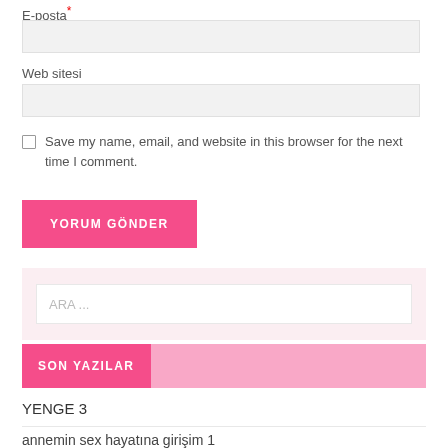E-posta *
Web sitesi
Save my name, email, and website in this browser for the next time I comment.
YORUM GÖNDER
ARA ...
SON YAZILAR
YENGE 3
annemin sex hayatına girişim 1